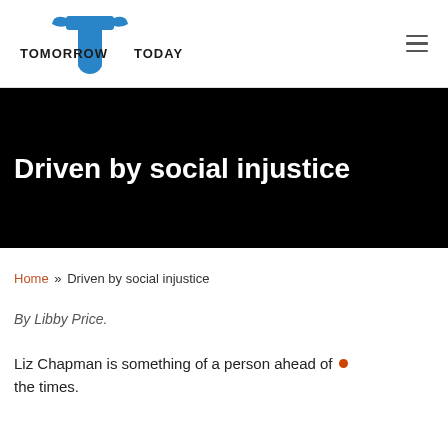[Figure (logo): Tomorrow Today logo with blue stylized T icon and bold text TOMORROW TODAY]
Driven by social injustice
Home » Driven by social injustice
By Libby Price.
Liz Chapman is something of a person ahead of the times.